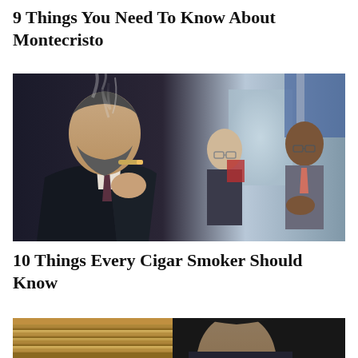9 Things You Need To Know About Montecristo
[Figure (photo): A bearded man in a dark suit smoking a cigar with smoke rising, with two other men in suits in the background, one Asian and one Black, also holding cigars or drinks.]
10 Things Every Cigar Smoker Should Know
[Figure (photo): Two partial images at the bottom: left shows bundled cigars, right shows a man's face partially visible.]